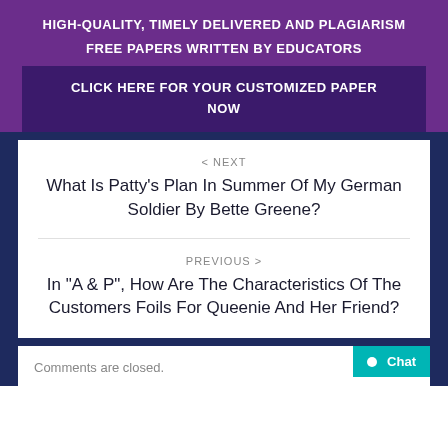HIGH-QUALITY, TIMELY DELIVERED AND PLAGIARISM FREE PAPERS WRITTEN BY EDUCATORS
CLICK HERE FOR YOUR CUSTOMIZED PAPER NOW
< NEXT
What Is Patty’s Plan In Summer Of My German Soldier By Bette Greene?
PREVIOUS >
In "A & P", How Are The Characteristics Of The Customers Foils For Queenie And Her Friend?
Comments are closed.